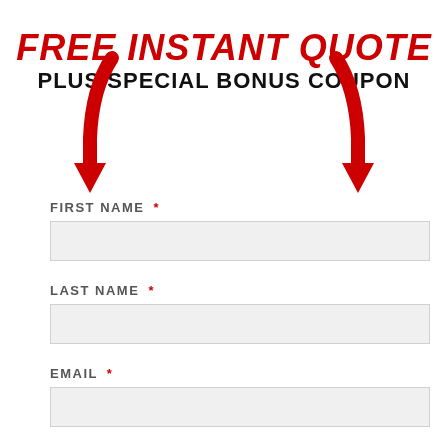FREE INSTANT QUOTE
PLUS SPECIAL BONUS COUPON
[Figure (illustration): Two large red arrow graphics pointing downward, one on the left and one on the right, flanking the headline text]
FIRST NAME *
LAST NAME *
EMAIL *